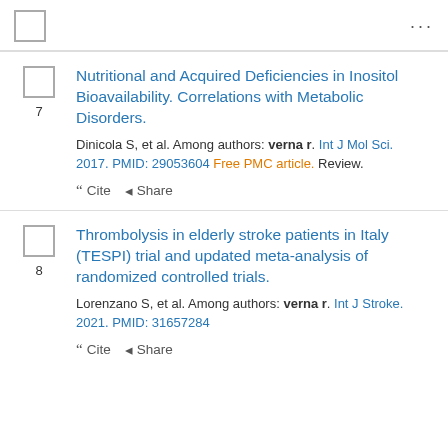7. Nutritional and Acquired Deficiencies in Inositol Bioavailability. Correlations with Metabolic Disorders. Dinicola S, et al. Among authors: verna r. Int J Mol Sci. 2017. PMID: 29053604 Free PMC article. Review.
8. Thrombolysis in elderly stroke patients in Italy (TESPI) trial and updated meta-analysis of randomized controlled trials. Lorenzano S, et al. Among authors: verna r. Int J Stroke. 2021. PMID: 31657284